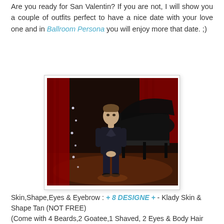Are you ready for San Valentin? If you are not, I will show you a couple of outfits perfect to have a nice date with your love one and in Ballroom Persona you will enjoy more that date. ;)
[Figure (photo): A male avatar dressed in black clothing standing in front of a grand piano on a stage with red curtains in the background, in what appears to be a virtual world (Second Life-style) ballroom setting.]
Skin,Shape,Eyes & Eyebrow : + 8 DESIGNE + - Klady Skin & Shape Tan (NOT FREE)
(Come with 4 Beards,2 Goatee,1 Shaved, 2 Eyes & Body Hair Tatoo Layers)